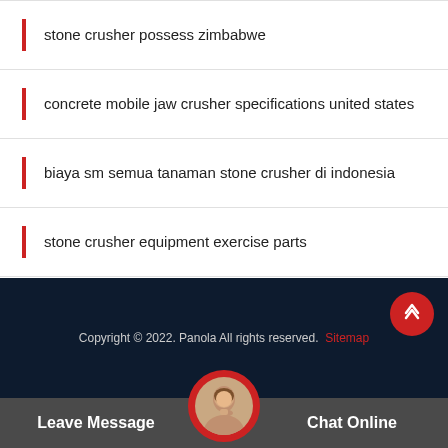stone crusher possess zimbabwe
concrete mobile jaw crusher specifications united states
biaya sm semua tanaman stone crusher di indonesia
stone crusher equipment exercise parts
Copyright © 2022. Panola All rights reserved. Sitemap
Leave Message   Chat Online